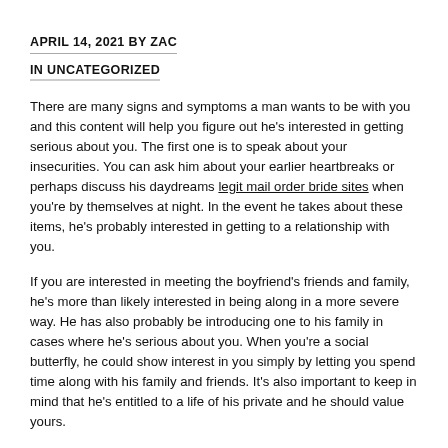APRIL 14, 2021 BY ZAC
IN UNCATEGORIZED
There are many signs and symptoms a man wants to be with you and this content will help you figure out he's interested in getting serious about you. The first one is to speak about your insecurities. You can ask him about your earlier heartbreaks or perhaps discuss his daydreams legit mail order bride sites when you're by themselves at night. In the event he takes about these items, he's probably interested in getting to a relationship with you.
If you are interested in meeting the boyfriend's friends and family, he's more than likely interested in being along in a more severe way. He has also probably be introducing one to his family in cases where he's serious about you. When you're a social butterfly, he could show interest in you simply by letting you spend time along with his family and friends. It's also important to keep in mind that he's entitled to a life of his private and he should value yours.
This individual should have desired goals and be committed to them.